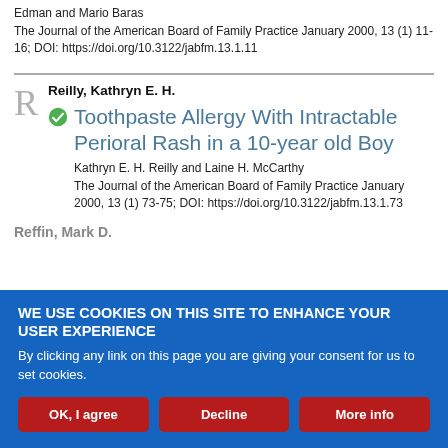Edman and Mario Baras
The Journal of the American Board of Family Practice January 2000, 13 (1) 11-16; DOI: https://doi.org/10.3122/jabfm.13.1.11
Reilly, Kathryn E. H.
Toothpaste Allergy With Intractable Perioral Rash in a 10-year old Boy
Kathryn E. H. Reilly and Laine H. McCarthy
The Journal of the American Board of Family Practice January 2000, 13 (1) 73-75; DOI: https://doi.org/10.3122/jabfm.13.1.73
WE USE COOKIES ON THIS SITE TO ENHANCE YOUR USER EXPERIENCE
By clicking any link on this page you are giving your consent for us to set cookies.